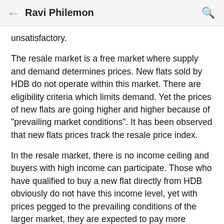Ravi Philemon
unsatisfactory.
The resale market is a free market where supply and demand determines prices. New flats sold by HDB do not operate within this market. There are eligibility criteria which limits demand. Yet the prices of new flats are going higher and higher because of "prevailing market conditions". It has been observed that new flats prices track the resale price index.
In the resale market, there is no income ceiling and buyers with high income can participate. Those who have qualified to buy a new flat directly from HDB obviously do not have this income level, yet with prices pegged to the prevailing conditions of the larger market, they are expected to pay more because of the deeper pockets of those who can't even participate in this reserved